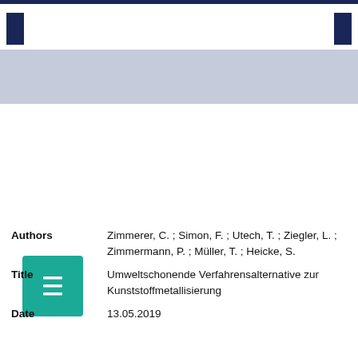[Figure (other): Teal icon with list/menu lines symbol]
| Authors | Zimmerer, C. ; Simon, F. ; Utech, T. ; Ziegler, L. ; Zimmermann, P. ; Müller, T. ; Heicke, S. |
| Title | Umweltschonende Verfahrensalternative zur Kunststoffmetallisierung |
| Date | 13.05.2019 |